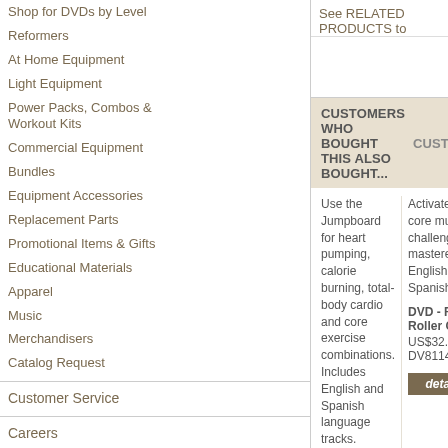See RELATED PRODUCTS to purchase required equipment
Shop for DVDs by Level
Reformers
At Home Equipment
Light Equipment
Power Packs, Combos & Workout Kits
Commercial Equipment
Bundles
Equipment Accessories
Replacement Parts
Promotional Items & Gifts
Educational Materials
Apparel
Music
Merchandisers
Catalog Request
Customer Service
Careers
Corporate Training Centers
CUSTOMERS WHO BOUGHT THIS ALSO BOUGHT...
Use the Jumpboard for heart pumping, calorie burning, total-body cardio and core exercise combinations. Includes English and Spanish language tracks.
DVD - Jumpboard Interval Training
US$32.95/EA
DV81165
Activate deep core muscles and challenge to mastered exercises. English and Spanish language tracks.
DVD - Foam Roller Cha...
US$32.95/EA
DV81143